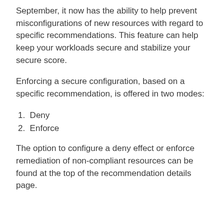September, it now has the ability to help prevent misconfigurations of new resources with regard to specific recommendations. This feature can help keep your workloads secure and stabilize your secure score.
Enforcing a secure configuration, based on a specific recommendation, is offered in two modes:
1. Deny
2. Enforce
The option to configure a deny effect or enforce remediation of non-compliant resources can be found at the top of the recommendation details page.